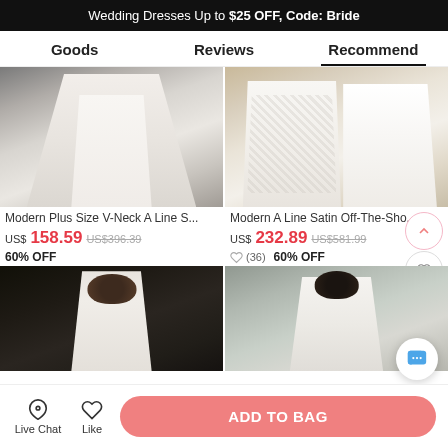Wedding Dresses Up to $25 OFF, Code: Bride
Goods | Reviews | Recommend
[Figure (photo): Close-up of white satin wedding dress skirt/train on floor]
Modern Plus Size V-Neck A Line S...
US$158.59  US$396.39  60% OFF
[Figure (photo): Close-up of white lace wedding dress with beige satin panels]
Modern A Line Satin Off-The-Sho...
US$232.89  US$581.99  60% OFF  ♡ (36)
[Figure (photo): Woman in white wedding dress with long sleeves, dark background]
[Figure (photo): Woman in white wedding dress outdoors, brick wall background]
Live Chat | Like | ADD TO BAG